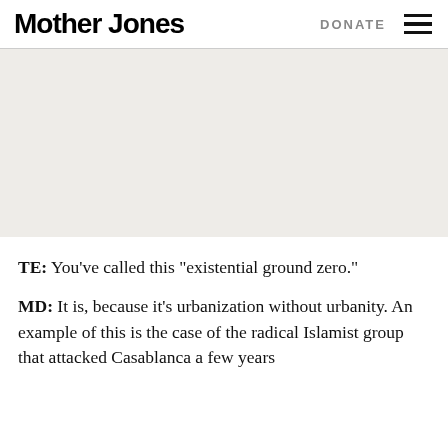Mother Jones | DONATE
[Figure (photo): Large light beige/grey image placeholder area]
TE: You’ve called this “existential ground zero.”
MD: It is, because it’s urbanization without urbanity. An example of this is the case of the radical Islamist group that attacked Casablanca a few years